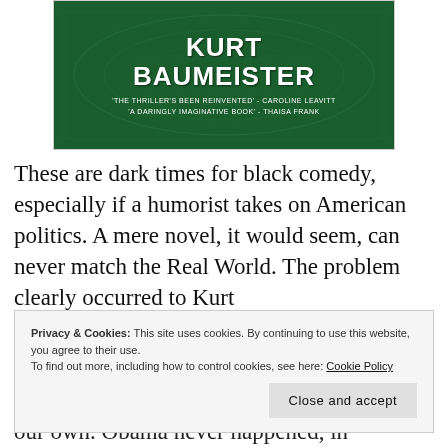[Figure (illustration): Book cover of a novel by Kurt Baumeister on a dark green background with dollar bill texture. Author name 'KURT BAUMEISTER' in large bold white text. Blurbs: 'THE THRILLER'S BEEN REINVENTED' - CAROLINE LEAVITT and 'A DARINGLY IMAGINATIVE BOOK' - THAISA FRANK.]
These are dark times for black comedy, especially if a humorist takes on American politics. A mere novel, it would seem, can never match the Real World. The problem clearly occurred to Kurt
Privacy & Cookies: This site uses cookies. By continuing to use this website, you agree to their use.
To find out more, including how to control cookies, see here: Cookie Policy
our own. Obama never happened, in Americana,